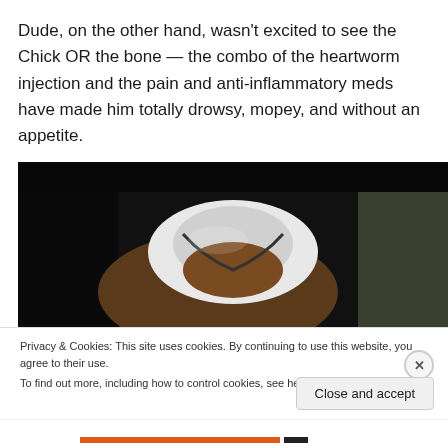Dude, on the other hand, wasn't excited to see the Chick OR the bone — the combo of the heartworm injection and the pain and anti-inflammatory meds have made him totally drowsy, mopey, and without an appetite.
[Figure (photo): Close-up photo of a dog (appears to be a brown/brindle dog) wearing a white cone/e-collar, photographed from above against a dark background.]
Privacy & Cookies: This site uses cookies. By continuing to use this website, you agree to their use.
To find out more, including how to control cookies, see here: Cookie Policy